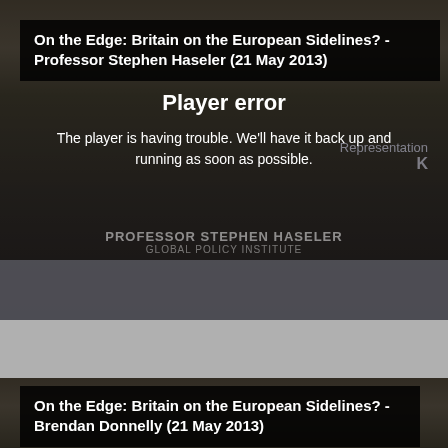On the Edge: Britain on the European Sidelines? - Professor Stephen Haseler (21 May 2013)
[Figure (screenshot): Video player showing a conference room with two men seated, with a 'Player error' overlay message. The error reads: 'The player is having trouble. We'll have it back up and running as soon as possible.']
On the Edge: Britain on the European Sidelines? - Brendan Donnelly (21 May 2013)